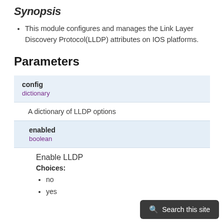Synopsis
This module configures and manages the Link Layer Discovery Protocol(LLDP) attributes on IOS platforms.
Parameters
| Parameter | Type | Description |
| --- | --- | --- |
| config | dictionary | A dictionary of LLDP options |
| enabled | boolean | Enable LLDP
Choices:
- no
- yes |